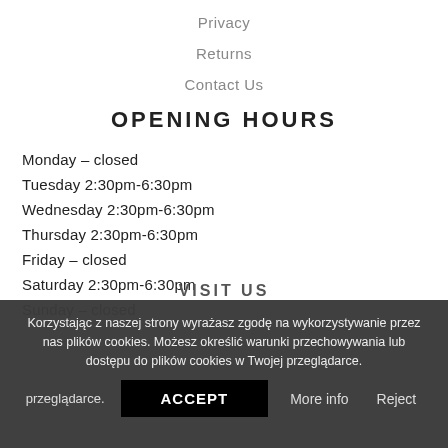Privacy
Returns
Contact Us
OPENING HOURS
Monday – closed
Tuesday 2:30pm-6:30pm
Wednesday 2:30pm-6:30pm
Thursday 2:30pm-6:30pm
Friday – closed
Saturday 2:30pm-6:30pm
Sunday – closed
VISIT US
Korzystając z naszej strony wyrażasz zgodę na wykorzystywanie przez nas plików cookies. Możesz określić warunki przechowywania lub dostępu do plików cookies w Twojej przeglądarce.
ACCEPT  More info  Reject